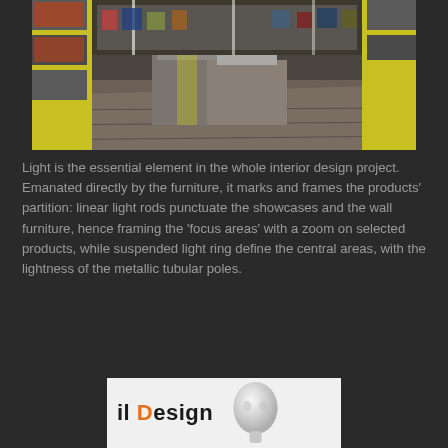[Figure (photo): Interior of a retail store with grey wooden displays, yellow accent shelving, and products on shelves. View from middle of store looking toward back wall.]
Light is the essential element in the whole interior design project. Emanated directly by the furniture, it marks and frames the products' partition: linear light rods punctuate the showcases and the wall furniture, hence framing the 'focus areas' with a zoom on selected products, while suspended light ring define the central areas, with the lightness of the metallic tubular poles.
[Figure (logo): il Design logo with orange capital D and a 3D rendered mannequin head in white/grey beside it.]